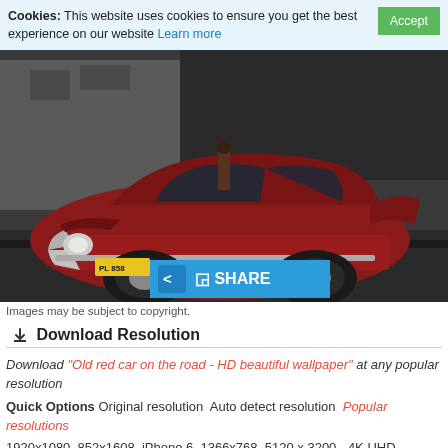Cookies: This website uses cookies to ensure you get the best experience on our website Learn more Accept
[Figure (photo): Vintage red classic car parked on a street, HDR-style photograph with dramatic contrast. A share button overlay is visible in the lower center of the image.]
Images may be subject to copyright.
Download Resolution
Download "Old red car on the road - HD beautiful wallpaper" at any popular resolution
Quick Options Original resolution Auto detect resolution Popular resolutions
1920x1080 852x1608 iPhone 6 1366x768 5120 x 3200 - 4K UHD WHXGA